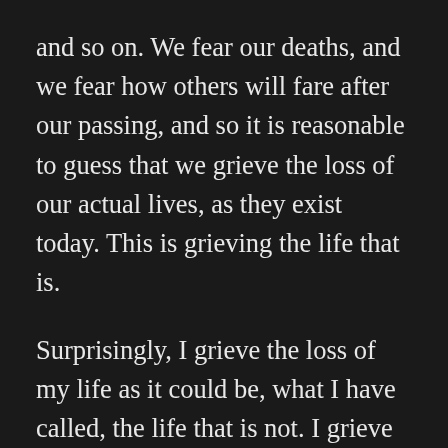and so on. We fear our deaths, and we fear how others will fare after our passing, and so it is reasonable to guess that we grieve the loss of our actual lives, as they exist today. This is grieving the life that is.
Surprisingly, I grieve the loss of my life as it could be, what I have called, the life that is not. I grieve the many possible lives that could be mine, or could have been, but now fold under the faculty of imagination. I stand only to lose the life that I lead today. Most generously, the life I could live in five or six years time, which significantly limits the